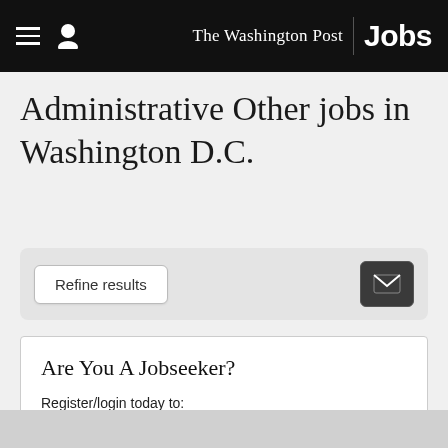The Washington Post Jobs
Administrative Other jobs in Washington D.C.
[Figure (screenshot): Filter bar with 'Refine results' button on the left and envelope/mail icon button on the right, on a light gray background]
Are You A Jobseeker?
Register/login today to:
View saved jobs
View applications